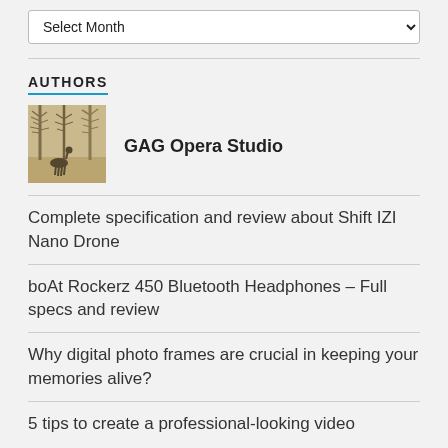Select Month
AUTHORS
[Figure (photo): Author avatar image showing deer grazing under bare trees in a misty forest setting]
GAG Opera Studio
Complete specification and review about Shift IZI Nano Drone
boAt Rockerz 450 Bluetooth Headphones – Full specs and review
Why digital photo frames are crucial in keeping your memories alive?
5 tips to create a professional-looking video